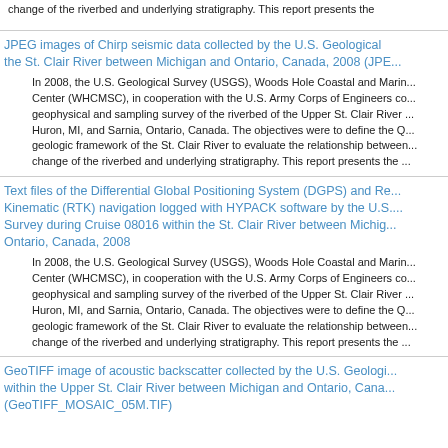change of the riverbed and underlying stratigraphy. This report presents the
JPEG images of Chirp seismic data collected by the U.S. Geological Survey within the St. Clair River between Michigan and Ontario, Canada, 2008 (JPE...
In 2008, the U.S. Geological Survey (USGS), Woods Hole Coastal and Marine Science Center (WHCMSC), in cooperation with the U.S. Army Corps of Engineers conducted a geophysical and sampling survey of the riverbed of the Upper St. Clair River between Port Huron, MI, and Sarnia, Ontario, Canada. The objectives were to define the Quaternary geologic framework of the St. Clair River to evaluate the relationship between change of the riverbed and underlying stratigraphy. This report presents the ...
Text files of the Differential Global Positioning System (DGPS) and Real-Time Kinematic (RTK) navigation logged with HYPACK software by the U.S. Geological Survey during Cruise 08016 within the St. Clair River between Michigan and Ontario, Canada, 2008
In 2008, the U.S. Geological Survey (USGS), Woods Hole Coastal and Marine Science Center (WHCMSC), in cooperation with the U.S. Army Corps of Engineers conducted a geophysical and sampling survey of the riverbed of the Upper St. Clair River between Port Huron, MI, and Sarnia, Ontario, Canada. The objectives were to define the Quaternary geologic framework of the St. Clair River to evaluate the relationship between change of the riverbed and underlying stratigraphy. This report presents the ...
GeoTIFF image of acoustic backscatter collected by the U.S. Geological Survey within the Upper St. Clair River between Michigan and Ontario, Canada... (GeoTIFF_MOSAIC_05M.TIF)